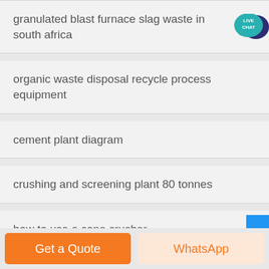granulated blast furnace slag waste in south africa
organic waste disposal recycle process equipment
cement plant diagram
crushing and screening plant 80 tonnes
how to use a cone crusher
[Figure (illustration): Live Chat speech bubble icon in teal/dark blue]
Get a Quote
WhatsApp